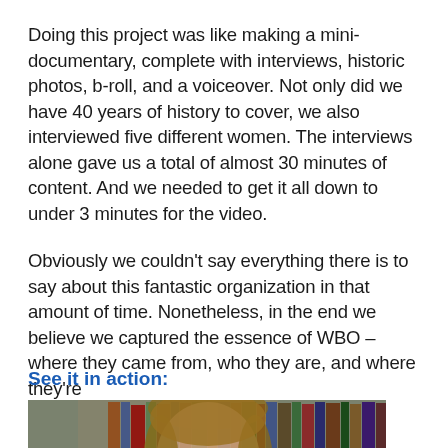Doing this project was like making a mini-documentary, complete with interviews, historic photos, b-roll, and a voiceover. Not only did we have 40 years of history to cover, we also interviewed five different women. The interviews alone gave us a total of almost 30 minutes of content. And we needed to get it all down to under 3 minutes for the video.
Obviously we couldn't say everything there is to say about this fantastic organization in that amount of time. Nonetheless, in the end we believe we captured the essence of WBO – where they came from, who they are, and where they're
See it in action:
[Figure (photo): A woman with shoulder-length brown hair in front of a bookshelf filled with books. A teal circular chat/message icon is visible in the bottom-left corner of the image.]